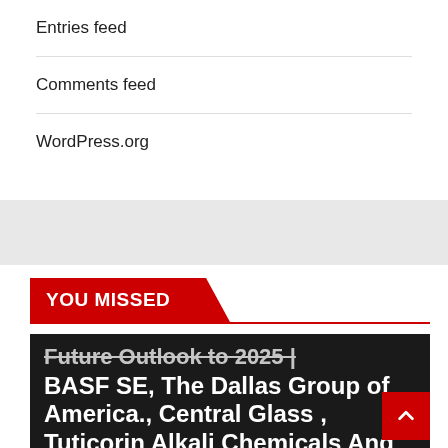Entries feed
Comments feed
WordPress.org
YOU MISSED
Future Outlook to 2025 | BASF SE, The Dallas Group of America., Central Glass , Tuticorin Alkali Chemicals And Fertilizers